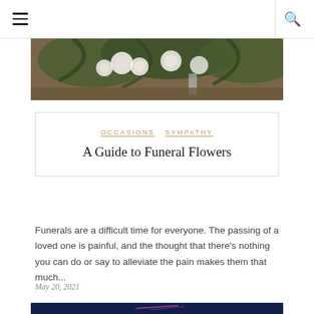☰   🔍
[Figure (photo): Floral arrangement with white roses and green palm fronds on a wooden surface, partially cropped at the top of the article card.]
OCCASIONS   SYMPATHY
A Guide to Funeral Flowers
Funerals are a difficult time for everyone. The passing of a loved one is painful, and the thought that there's nothing you can do or say to alleviate the pain makes them that much...
May 20, 2021
[Figure (photo): Bottom image strip partially visible — dark blue/purple background possibly night sky with light streaks.]